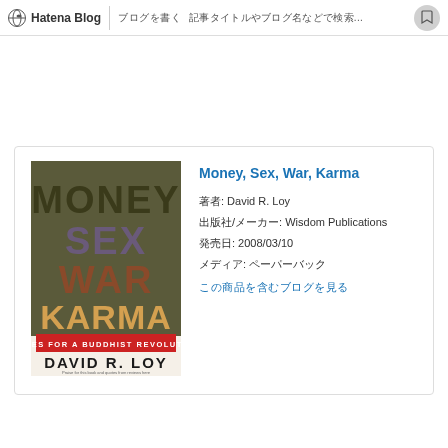Hatena Blog | ブログを書く | 記事タイトルやブログ名などで検索...
[Figure (illustration): Book cover for 'Money, Sex, War, Karma: Notes for a Buddhist Revolution' by David R. Loy, published by Wisdom Publications]
Money, Sex, War, Karma
著者: David R. Loy
出版社/メーカー: Wisdom Publications
発売日: 2008/03/10
メディア: ペーパーバック
この商品を含むブログを見る